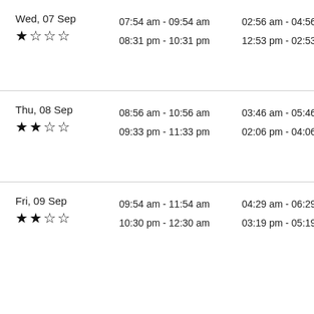| Day | Times (local) | Times (other) |
| --- | --- | --- |
| Wed, 07 Sep
★☆☆☆ | 07:54 am - 09:54 am
08:31 pm - 10:31 pm | 02:56 am - 04:56 a…
12:53 pm - 02:53 p… |
| Thu, 08 Sep
★★☆☆ | 08:56 am - 10:56 am
09:33 pm - 11:33 pm | 03:46 am - 05:46 a…
02:06 pm - 04:06 p… |
| Fri, 09 Sep
★★☆☆ | 09:54 am - 11:54 am
10:30 pm - 12:30 am | 04:29 am - 06:29 a…
03:19 pm - 05:19 p… |